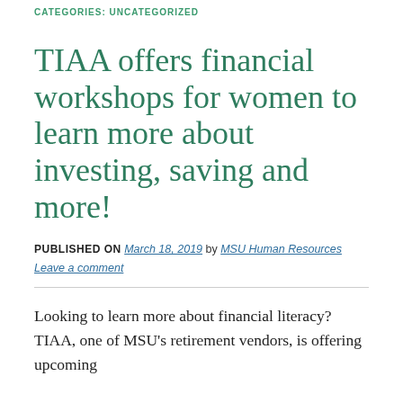CATEGORIES: UNCATEGORIZED
TIAA offers financial workshops for women to learn more about investing, saving and more!
PUBLISHED ON March 18, 2019 by MSU Human Resources Leave a comment
Looking to learn more about financial literacy? TIAA, one of MSU's retirement vendors, is offering upcoming